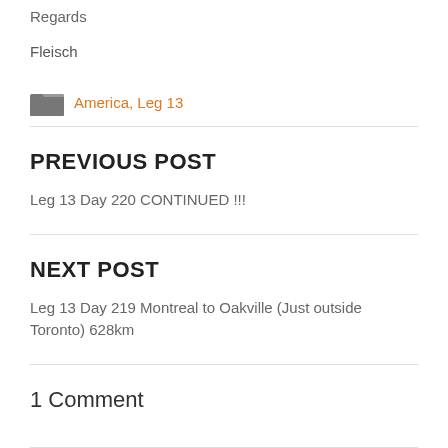Regards
Fleisch
America, Leg 13
PREVIOUS POST
Leg 13 Day 220 CONTINUED !!!
NEXT POST
Leg 13 Day 219 Montreal to Oakville (Just outside Toronto) 628km
1 Comment